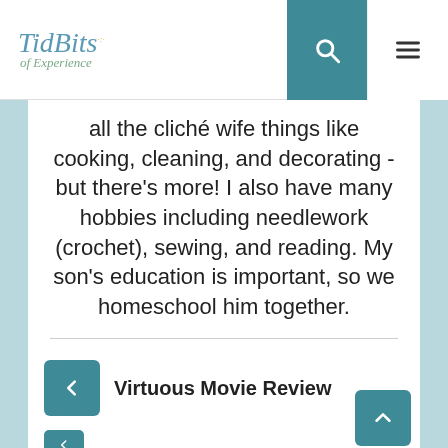TidBits of Experience — navigation header with search and menu icons
all the cliché wife things like cooking, cleaning, and decorating - but there's more! I also have many hobbies including needlework (crochet), sewing, and reading. My son's education is important, so we homeschool him together.
Virtuous Movie Review